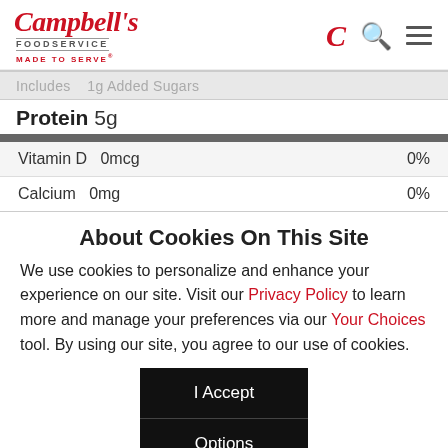Campbell's Foodservice — Made To Serve
| Includes | 1g Added Sugars |
| Protein | 5g |  |
| Vitamin D | 0mcg | 0% |
| Calcium | 0mg | 0% |
About Cookies On This Site
We use cookies to personalize and enhance your experience on our site. Visit our Privacy Policy to learn more and manage your preferences via our Your Choices tool. By using our site, you agree to our use of cookies.
I Accept
Options